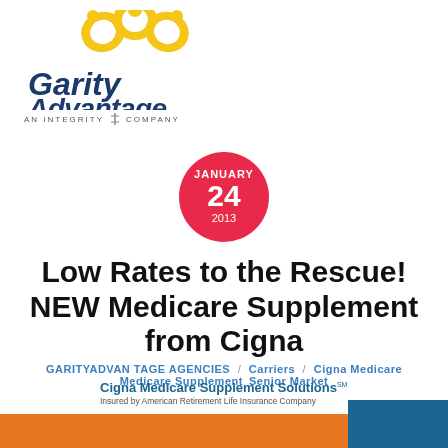[Figure (logo): Garity Advantage logo with yellow arching figures and blue italic text 'Garity Advantage', below text 'AN INTEGRITY II COMPANY']
[Figure (other): Red circular date badge showing JANUARY 24 2013]
Low Rates to the Rescue! NEW Medicare Supplement from Cigna
GARITYADVAN TAGE AGENCIES / Carriers / Cigna Medicare Medicare Supplement Senior Market
Cigna Medicare Supplement Solutions℠ Insured by American Retirement Life Insurance Company